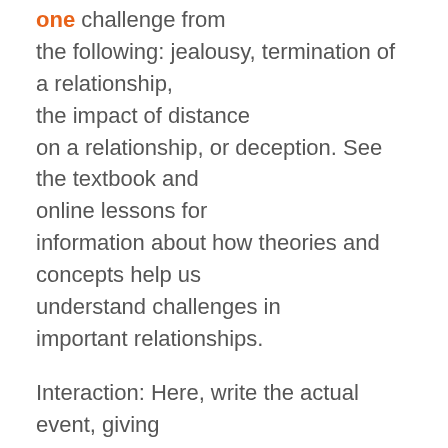one challenge from the following: jealousy, termination of a relationship, the impact of distance on a relationship, or deception. See the textbook and online lessons for information about how theories and concepts help us understand challenges in important relationships.
Interaction: Here, write the actual event, giving enough detail of what occurred so the analysis will be easily understood. Most people find it easier to write in a narrative form rather than a dialogue form, but it is your choice. The “Description” portion is about ½ page in